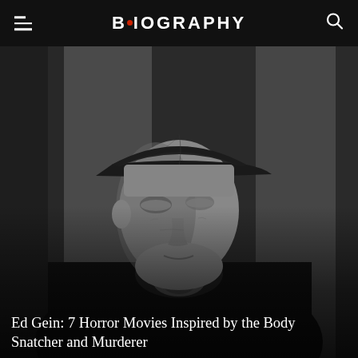BIOGRAPHY
[Figure (photo): Black and white photograph of Ed Gein, a middle-aged man wearing a dark cap and dark jacket, looking downward, in a grainy monochrome style.]
Ed Gein: 7 Horror Movies Inspired by the Body Snatcher and Murderer